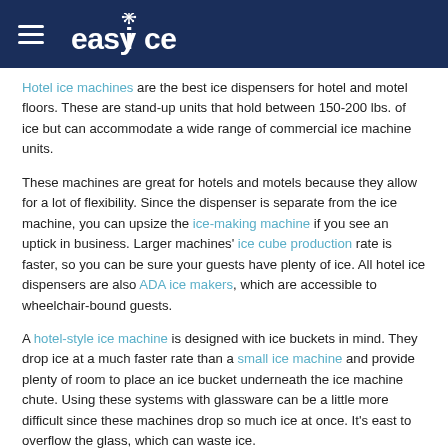easyice
Hotel ice machines are the best ice dispensers for hotel and motel floors. These are stand-up units that hold between 150-200 lbs. of ice but can accommodate a wide range of commercial ice machine units.
These machines are great for hotels and motels because they allow for a lot of flexibility. Since the dispenser is separate from the ice machine, you can upsize the ice-making machine if you see an uptick in business. Larger machines' ice cube production rate is faster, so you can be sure your guests have plenty of ice. All hotel ice dispensers are also ADA ice makers, which are accessible to wheelchair-bound guests.
A hotel-style ice machine is designed with ice buckets in mind. They drop ice at a much faster rate than a small ice machine and provide plenty of room to place an ice bucket underneath the ice machine chute. Using these systems with glassware can be a little more difficult since these machines drop so much ice at once. It's east to overflow the glass, which can waste ice.